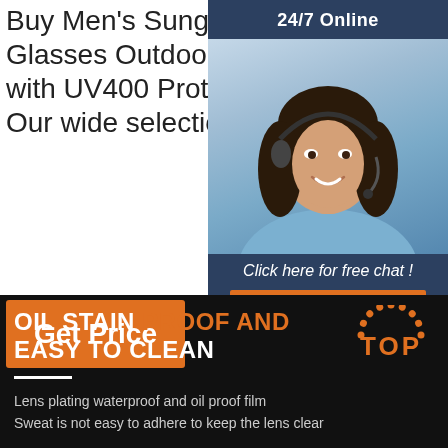Buy Men's Sunglasses PolarZed Unisex Luxury Retro Sun Glasses Outdoors Sports Golf Cycling Fishing Hiking Eyewear with UV400 Protection and other Sunglasses at Amazon.com. Our wide selection is eligible for free shipping and free returns.
[Figure (illustration): 24/7 Online chat support widget with a smiling woman wearing a headset, dark blue background, 'Click here for free chat!' text, and an orange QUOTATION button]
Get Price
OIL STAIN PROOF AND EASY TO CLEAN
[Figure (logo): TOP badge with orange semicircle of dots above the word TOP in orange letters]
Lens plating waterproof and oil proof film
Sweat is not easy to adhere to keep the lens clear